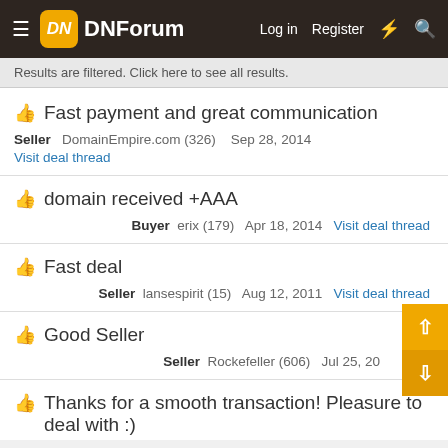DNForum — Log in  Register
Results are filtered. Click here to see all results.
Fast payment and great communication
Seller  DomainEmpire.com (326)  Sep 28, 2014
Visit deal thread
domain received +AAA
Buyer  erix (179)  Apr 18, 2014  Visit deal thread
Fast deal
Seller  lansespirit (15)  Aug 12, 2011  Visit deal thread
Good Seller
Seller  Rockefeller (606)  Jul 25, 20…
Thanks for a smooth transaction! Pleasure to deal with :)